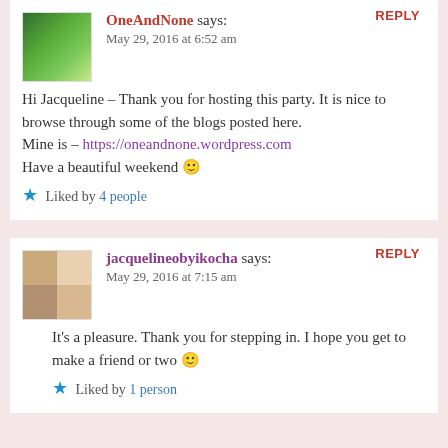REPLY
[Figure (photo): Green forest/nature avatar image for user OneAndNone]
OneAndNone says:
May 29, 2016 at 6:52 am
Hi Jacqueline – Thank you for hosting this party. It is nice to browse through some of the blogs posted here. Mine is – https://oneandnone.wordpress.com Have a beautiful weekend 🙂
★ Liked by 4 people
REPLY
[Figure (photo): Profile photo grid of jacquelineobyikocha showing a person, split into 4 quadrants]
jacquelineobyikocha says:
May 29, 2016 at 7:15 am
It’s a pleasure. Thank you for stepping in. I hope you get to make a friend or two 🙂
★ Liked by 1 person